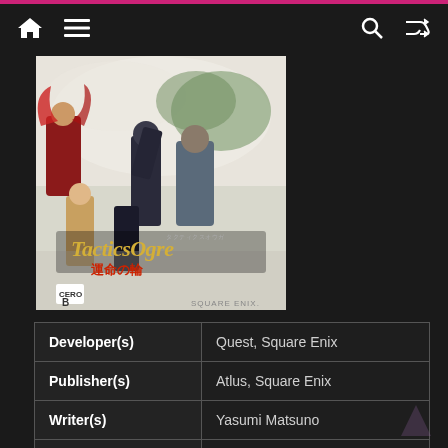Navigation bar with home, menu, search, and shuffle icons
[Figure (illustration): Tactics Ogre: 運命の輪 game cover art showing fantasy characters in battle, with 'Tactics Ogre' logo, CERO B rating, and Square Enix publisher mark]
| Developer(s) | Quest, Square Enix |
| Publisher(s) | Atlus, Square Enix |
| Writer(s) | Yasumi Matsuno |
| Platform(s) | Super Famicom |